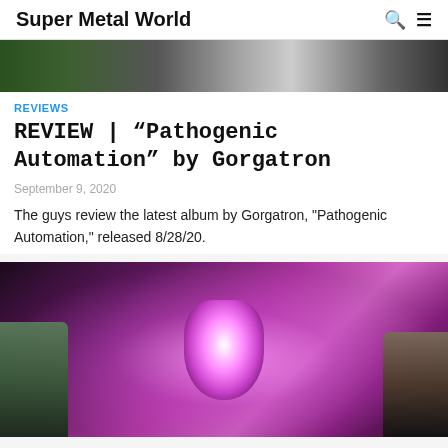Super Metal World
[Figure (photo): Top banner image showing people playing guitar with colorful background]
REVIEWS
REVIEW | “Pathogenic Automation” by Gorgatron
September 9, 2020
The guys review the latest album by Gorgatron, "Pathogenic Automation," released 8/28/20.
[Figure (photo): Two podcast hosts with headsets flanking a central graphic of a glowing pink/purple alien or creature mouth image - album art for Pathogenic Automation by Gorgatron]